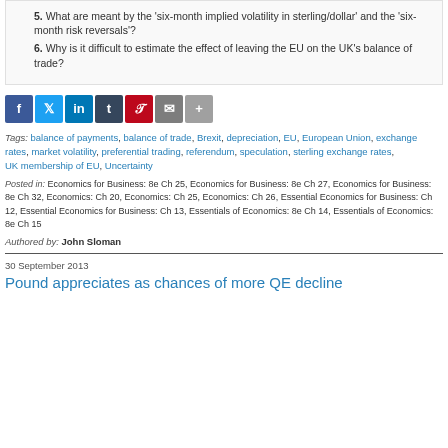5. What are meant by the 'six-month implied volatility in sterling/dollar' and the 'six-month risk reversals'?
6. Why is it difficult to estimate the effect of leaving the EU on the UK's balance of trade?
[Figure (infographic): Social sharing icons: Facebook (blue), Twitter (light blue), LinkedIn (blue), Tumblr (dark blue), Pinterest (red), Email (grey), More (grey)]
Tags: balance of payments, balance of trade, Brexit, depreciation, EU, European Union, exchange rates, market volatility, preferential trading, referendum, speculation, sterling exchange rates, UK membership of EU, Uncertainty
Posted in: Economics for Business: 8e Ch 25, Economics for Business: 8e Ch 27, Economics for Business: 8e Ch 32, Economics: Ch 20, Economics: Ch 25, Economics: Ch 26, Essential Economics for Business: Ch 12, Essential Economics for Business: Ch 13, Essentials of Economics: 8e Ch 14, Essentials of Economics: 8e Ch 15
Authored by: John Sloman
30 September 2013
Pound appreciates as chances of more QE decline